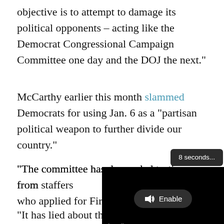objective is to attempt to damage its political opponents – acting like the Democrat Congressional Campaign Committee one day and the DOJ the next."
McCarthy earlier this month slammed Democrats for using Jan. 6 as a "partisan political weapon to further divide our country."
"The committee has demanded testimony from staffers who applied for First Amendment protections, subpoenaed the call records of members, sought financial records from banks without authority not supported by law," he wrote.
[Figure (screenshot): Video player overlay showing a loading state with an 'Enable' audio button and '8 seconds...' toast notification, with a black video area and 'Loading' text with dots at the bottom.]
"It has lied about the contents of documents it has